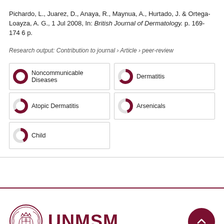Pichardo, L., Juarez, D., Anaya, R., Maynua, A., Hurtado, J. & Ortega-Loayza, A. G., 1 Jul 2008, In: British Journal of Dermatology. p. 169-174 6 p.
Research output: Contribution to journal › Article › peer-review
[Figure (infographic): Five keyword/fingerprint badges arranged in a 2-column grid: Noncommunicable Diseases (100%), Dermatitis (65%), Atopic Dermatitis (65%), Arsenicals (45%), Child (42%). Each badge shows a donut/pie chart segment in dark red indicating the percentage.]
[Figure (logo): UNMSM university seal/crest logo on the left and bold dark red UNMSM text in the center, with a dark red circular scroll-to-top button on the right.]